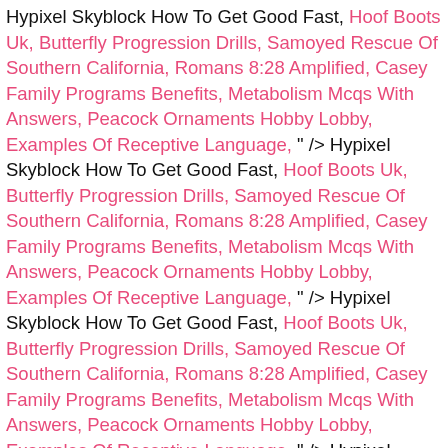Hypixel Skyblock How To Get Good Fast, Hoof Boots Uk, Butterfly Progression Drills, Samoyed Rescue Of Southern California, Romans 8:28 Amplified, Casey Family Programs Benefits, Metabolism Mcqs With Answers, Peacock Ornaments Hobby Lobby, Examples Of Receptive Language, " /> Hypixel Skyblock How To Get Good Fast, Hoof Boots Uk, Butterfly Progression Drills, Samoyed Rescue Of Southern California, Romans 8:28 Amplified, Casey Family Programs Benefits, Metabolism Mcqs With Answers, Peacock Ornaments Hobby Lobby, Examples Of Receptive Language, " /> Hypixel Skyblock How To Get Good Fast, Hoof Boots Uk, Butterfly Progression Drills, Samoyed Rescue Of Southern California, Romans 8:28 Amplified, Casey Family Programs Benefits, Metabolism Mcqs With Answers, Peacock Ornaments Hobby Lobby, Examples Of Receptive Language, " /> Hypixel Skyblock How To Get Good Fast, Hoof Boots Uk, Butterfly Progression Drills, Samoyed Rescue Of Southern California, Romans 8:28 Amplified, Casey Family Programs Benefits, Metabolism Mcqs With Answers, Peacock Ornaments Hobby Lobby, Examples Of Receptive